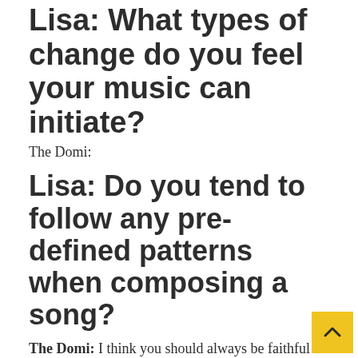Lisa: What types of change do you feel your music can initiate?
The Domi:
Lisa: Do you tend to follow any pre-defined patterns when composing a song?
The Domi: I think you should always be faithful to who you are and what you like in your music even though sometimes it's hard.
Lisa: What ideas did inform “Together” in